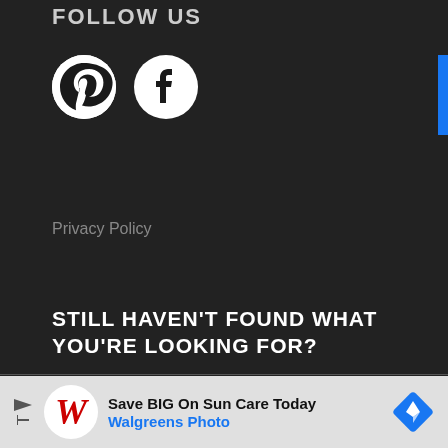FOLLOW US
[Figure (logo): Pinterest and Facebook social media icons (white circles on dark background)]
Privacy Policy
STILL HAVEN'T FOUND WHAT YOU'RE LOOKING FOR?
[Figure (other): Search input box with placeholder text 'Search the site ...']
[Figure (other): Advertisement banner: Walgreens Photo - Save BIG On Sun Care Today]